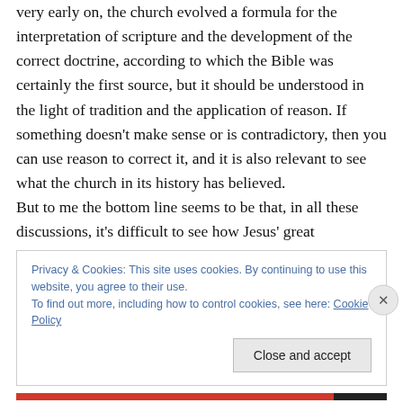very early on, the church evolved a formula for the interpretation of scripture and the development of the correct doctrine, according to which the Bible was certainly the first source, but it should be understood in the light of tradition and the application of reason. If something doesn't make sense or is contradictory, then you can use reason to correct it, and it is also relevant to see what the church in its history has believed.
But to me the bottom line seems to be that, in all these discussions, it's difficult to see how Jesus' great commandment of love, that 'thou shalt love thy neighbour
Privacy & Cookies: This site uses cookies. By continuing to use this website, you agree to their use.
To find out more, including how to control cookies, see here: Cookie Policy
Close and accept